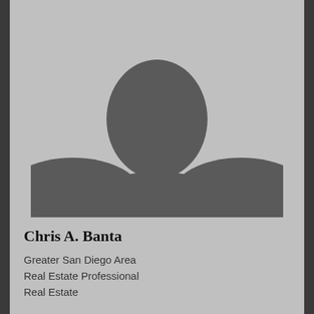[Figure (photo): Generic silhouette placeholder profile photo of a person (head and shoulders) against a grey background]
Chris A. Banta
Greater San Diego Area
Real Estate Professional
Real Estate